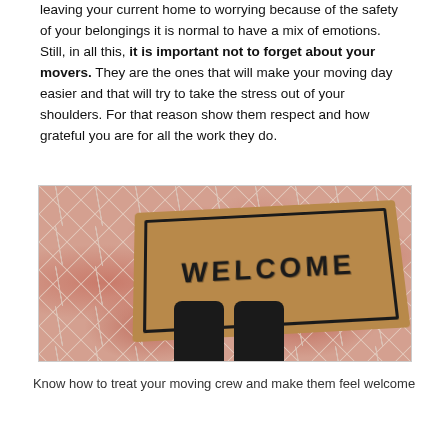leaving your current home to worrying because of the safety of your belongings it is normal to have a mix of emotions. Still, in all this, it is important not to forget about your movers. They are the ones that will make your moving day easier and that will try to take the stress out of your shoulders. For that reason show them respect and how grateful you are for all the work they do.
[Figure (photo): A welcome mat on a mosaic tile floor with someone standing in front of it wearing black boots, viewed from above.]
Know how to treat your moving crew and make them feel welcome